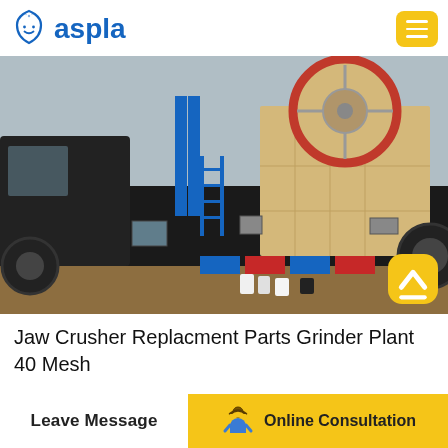[Figure (logo): Aspla logo with blue shield icon and blue text 'aspla']
[Figure (photo): Jaw crusher / mobile grinder plant mounted on a flatbed truck, photographed outdoors on a dirt lot. Large red-rimmed flywheel visible, blue ladder, colorful conveyor belts underneath.]
Jaw Crusher Replacment Parts Grinder Plant 40 Mesh
Leave Message
Online Consultation